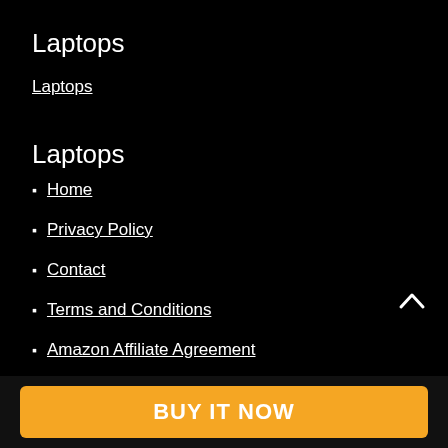Laptops
Laptops
Laptops
Home
Privacy Policy
Contact
Terms and Conditions
Amazon Affiliate Agreement
Affiliate Disclosure
BUY IT NOW